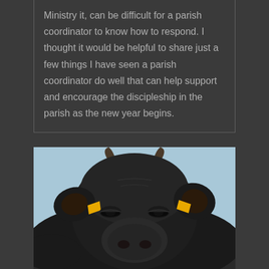Ministry it, can be difficult for a parish coordinator to know how to respond. I thought it would be helpful to share just a few things I have seen a parish coordinator do well that can help support and encourage the discipleship in the parish as the new year begins.
[Figure (photo): Close-up photograph of a black cow facing the camera with yellow ear tags in both ears, against a light blue sky background.]